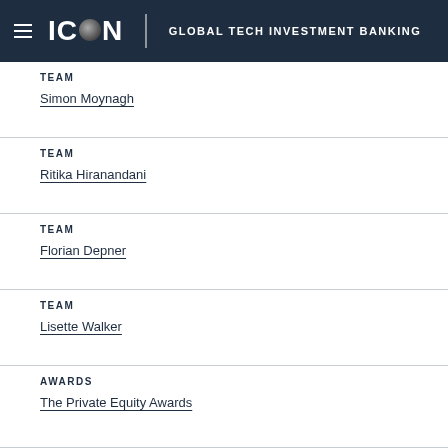ICON GLOBAL TECH INVESTMENT BANKING
TEAM
Simon Moynagh
TEAM
Ritika Hiranandani
TEAM
Florian Depner
TEAM
Lisette Walker
AWARDS
The Private Equity Awards